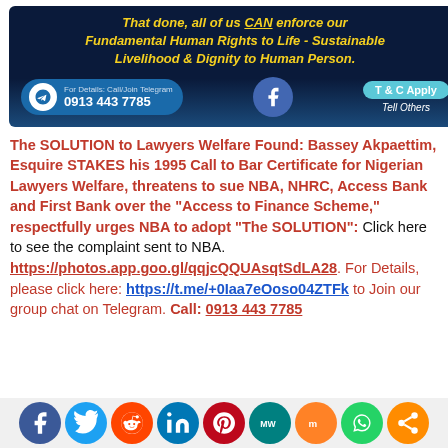[Figure (infographic): Dark blue banner with yellow italic bold text 'That done, all of us CAN enforce our Fundamental Human Rights to Life - Sustainable Livelihood & Dignity to Human Person.' with Telegram contact info (0913 443 7785), Facebook icon, T&C Apply button, and Tell Others text.]
The SOLUTION to Lawyers Welfare Found: Bassey Akpaettim, Esquire STAKES his 1995 Call to Bar Certificate for Nigerian Lawyers Welfare, threatens to sue NBA, NHRC, Access Bank and First Bank over the "Access to Finance Scheme," respectfully urges NBA to adopt "The SOLUTION": Click here to see the complaint sent to NBA. https://photos.app.goo.gl/qqjcQQUAsqtSdLA28. For Details, please click here: https://t.me/+0Iaa7eOoso04ZTFk to Join our group chat on Telegram. Call: 0913 443 7785
[Figure (infographic): Row of social media sharing icons: Facebook, Twitter, Reddit, LinkedIn, Pinterest, MeWe, Mix, WhatsApp, Share]